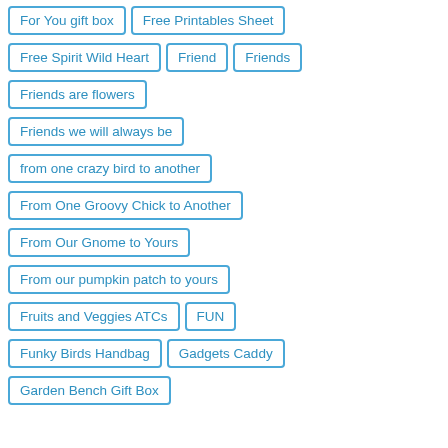For You gift box
Free Printables Sheet
Free Spirit Wild Heart
Friend
Friends
Friends are flowers
Friends we will always be
from one crazy bird to another
From One Groovy Chick to Another
From Our Gnome to Yours
From our pumpkin patch to yours
Fruits and Veggies ATCs
FUN
Funky Birds Handbag
Gadgets Caddy
Garden Bench Gift Box